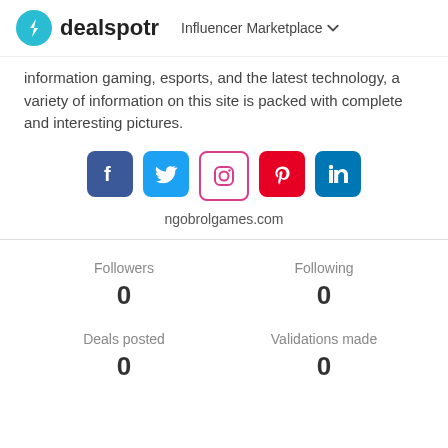dealspotr — Influencer Marketplace
information gaming, esports, and the latest technology, a variety of information on this site is packed with complete and interesting pictures.
[Figure (infographic): Row of five social media icons: Facebook (blue), Twitter (light blue), Instagram (white with pink border), Pinterest (red), LinkedIn (blue)]
ngobrolgames.com
| Followers | Following |
| --- | --- |
| 0 | 0 |
| Deals posted | Validations made |
| --- | --- |
| 0 | 0 |